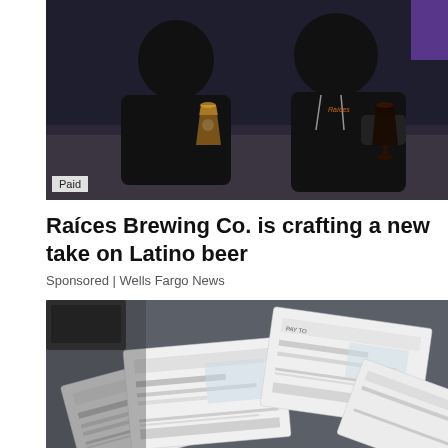[Figure (photo): Two men sitting at a bar counter holding beer glasses, both wearing black Raíces branded hoodies. Dark ambiance bar setting.]
Paid
Raíces Brewing Co. is crafting a new take on Latino beer
Sponsored | Wells Fargo News
[Figure (photo): Overhead view of multiple checks or envelopes with financial documents spread out, partially overlapping on a dark surface.]